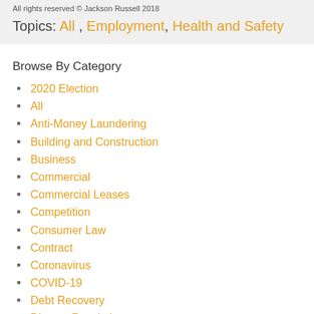All rights reserved © Jackson Russell 2018
Topics: All , Employment , Health and Safety
Browse By Category
2020 Election
All
Anti-Money Laundering
Building and Construction
Business
Commercial
Commercial Leases
Competition
Consumer Law
Contract
Coronavirus
COVID-19
Debt Recovery
Dispute Resolution